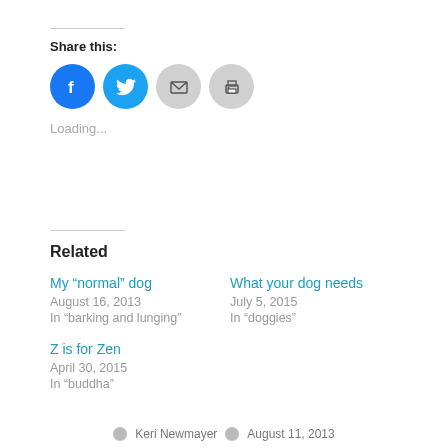Share this:
[Figure (infographic): Social share buttons: Facebook (blue circle), Twitter (blue circle), Email (gray circle), Print (gray circle)]
Loading...
Related
My “normal” dog
August 16, 2013
In "barking and lunging"
What your dog needs
July 5, 2015
In "doggies"
Z is for Zen
April 30, 2015
In "buddha"
Keri Newmayer · August 11, 2013